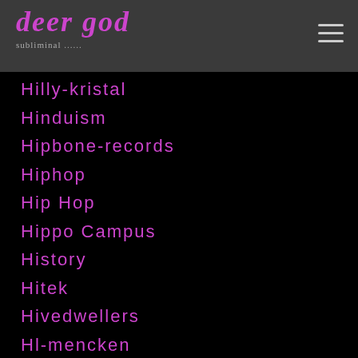deer god
Hilly-kristal
Hinduism
Hipbone-records
Hiphop
Hip Hop
Hippo Campus
History
Hitek
Hivedwellers
Hl-mencken
Hole
Hollywoodbabylon
Hollywood-ten
Holy-ghost
Holy-knives
Holy-moe
Holy-mountain